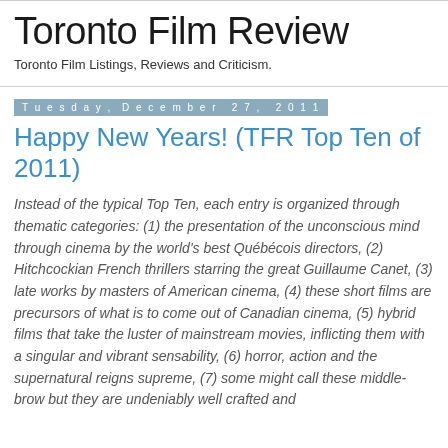Toronto Film Review
Toronto Film Listings, Reviews and Criticism.
Tuesday, December 27, 2011
Happy New Years! (TFR Top Ten of 2011)
Instead of the typical Top Ten, each entry is organized through thematic categories: (1) the presentation of the unconscious mind through cinema by the world's best Québécois directors, (2) Hitchcockian French thrillers starring the great Guillaume Canet, (3) late works by masters of American cinema, (4) these short films are precursors of what is to come out of Canadian cinema, (5) hybrid films that take the luster of mainstream movies, inflicting them with a singular and vibrant sensability, (6) horror, action and the supernatural reigns supreme, (7) some might call these middle-brow but they are undeniably well crafted and